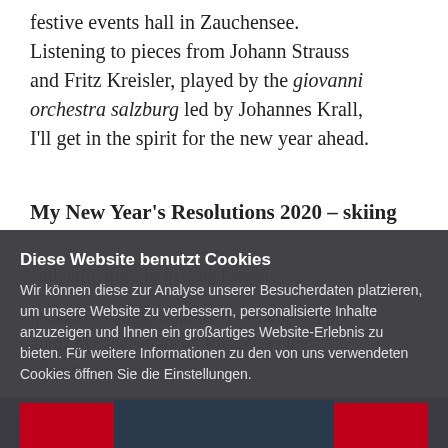festive events hall in Zauchensee. Listening to pieces from Johann Strauss and Fritz Kreisler, played by the giovanni orchestra salzburg led by Johannes Krall, I'll get in the spirit for the new year ahead.
My New Year's Resolutions 2020 – skiing and enjoying life in Zauchensee
instead of eating healthily for example, I'm going to concentrate on what gives me pleasure in 2020.
Diese Website benutzt Cookies
Wir können diese zur Analyse unserer Besucherdaten platzieren, um unsere Website zu verbessern, personalisierte Inhalte anzuzeigen und Ihnen ein großartiges Website-Erlebnis zu bieten. Für weitere Informationen zu den von uns verwendeten Cookies öffnen Sie die Einstellungen.
Ok, mach weiter
Ablehnen
Nein, passen Sie an